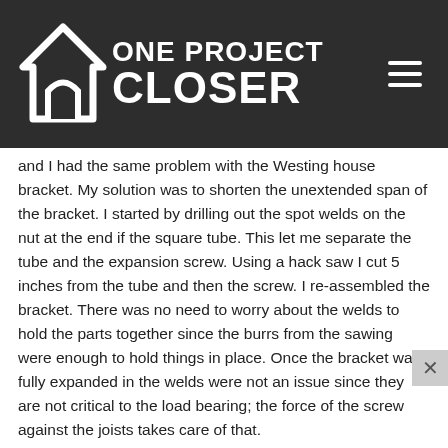ONE PROJECT CLOSER
and I had the same problem with the Westing house bracket. My solution was to shorten the unextended span of the bracket. I started by drilling out the spot welds on the nut at the end if the square tube. This let me separate the tube and the expansion screw. Using a hack saw I cut 5 inches from the tube and then the screw. I re-assembled the bracket. There was no need to worry about the welds to hold the parts together since the burrs from the sawing were enough to hold things in place. Once the bracket was fully expanded in the welds were not an issue since they are not critical to the load bearing; the force of the screw against the joists takes care of that.
The Hunter Type-A I installed is totally secure in this